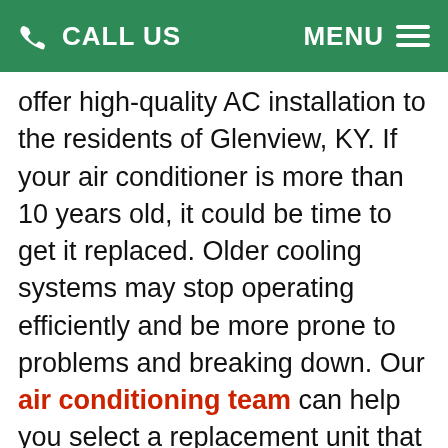CALL US   MENU
offer high-quality AC installation to the residents of Glenview, KY. If your air conditioner is more than 10 years old, it could be time to get it replaced. Older cooling systems may stop operating efficiently and be more prone to problems and breaking down. Our air conditioning team can help you select a replacement unit that will be properly sized for your home. We can offer advice about the energy efficiency of various units and can answer any questions about your options. Moving forward with an AC replacement could be a great investment in your home. A new